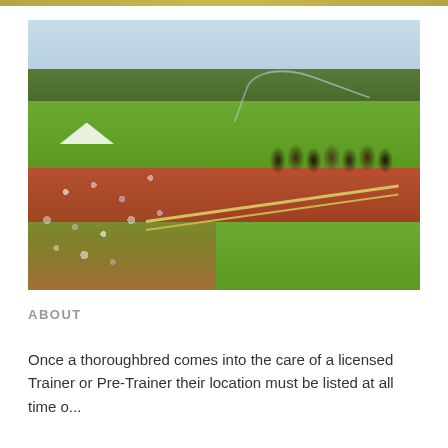[Figure (photo): Aerial/elevated view of a horse racing track. Crowd of spectators lines the left side along a brown/red path. The green grass racing track runs diagonally. Horses with jockeys race on the right side of the track. Trees in the background. A water/irrigation spray arc is visible. Blue sky above.]
ABOUT
Once a thoroughbred comes into the care of a licensed Trainer or Pre-Trainer their location must be listed at all times on